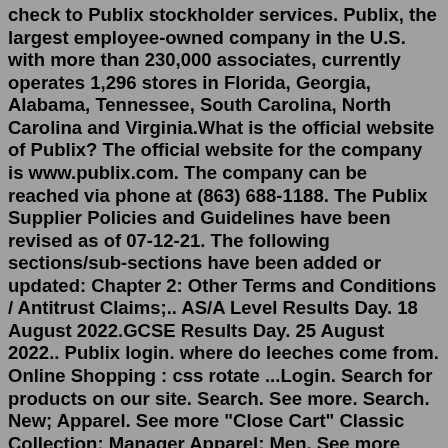check to Publix stockholder services. Publix, the largest employee-owned company in the U.S. with more than 230,000 associates, currently operates 1,296 stores in Florida, Georgia, Alabama, Tennessee, South Carolina, North Carolina and Virginia.What is the official website of Publix? The official website for the company is www.publix.com. The company can be reached via phone at (863) 688-1188. The Publix Supplier Policies and Guidelines have been revised as of 07-12-21. The following sections/sub-sections have been added or updated: Chapter 2: Other Terms and Conditions / Antitrust Claims;.. AS/A Level Results Day. 18 August 2022.GCSE Results Day. 25 August 2022.. Publix login. where do leeches come from. Online Shopping : css rotate ...Login. Search for products on our site. Search. See more. Search. New; Apparel. See more "Close Cart" Classic Collection; Manager Apparel; Men. See more "Close Cart" ... I Love Publix - Skinnies. $9.95. Great Place To Work - Chunkies. $9.95. 6.5"x6.5" White 3-Ply Luncheon Napkins (Package of 25) $7.95. 7" Round Plastic Plate